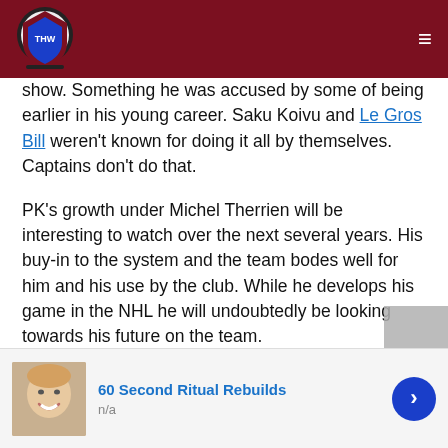THW logo navigation bar
show. Something he was accused by some of being earlier in his young career. Saku Koivu and Le Gros Bill weren't known for doing it all by themselves. Captains don't do that.
PK's growth under Michel Therrien will be interesting to watch over the next several years. His buy-in to the system and the team bodes well for him and his use by the club. While he develops his game in the NHL he will undoubtedly be looking towards his future on the team.
However, PK Subban is not Saku Koivu, and he is not Jean Béliveau. Both Habs legends with 10 years stints as captains. As I mentioned earlier, he is a new type of player for the NHL. One that should continue to be celebrated.
[Figure (other): Advertisement banner: '60 Second Ritual Rebuilds' with face image and blue arrow button, n/a label]